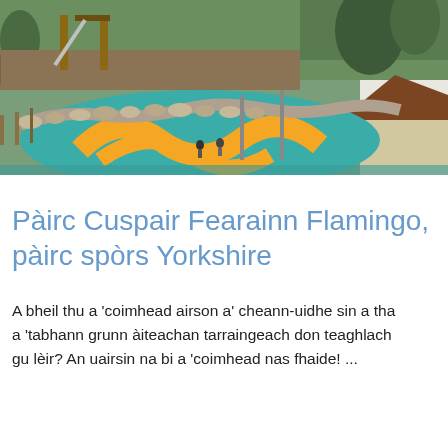[Figure (photo): Aerial/elevated view of Flamingo Land theme park showing a colorful playground area with teal and orange rubber surfacing, wooden fence boundary, and playground equipment]
Pàirc Cuspair Fearainn Flamingo, pàirc spòrs Yorkshire
A bheil thu a 'coimhead airson a' cheann-uidhe sin a tha a 'tabhann grunn àiteachan tarraingeach don teaghlach gu lèir? An uairsin na bi a 'coimhead nas fhaide! ...